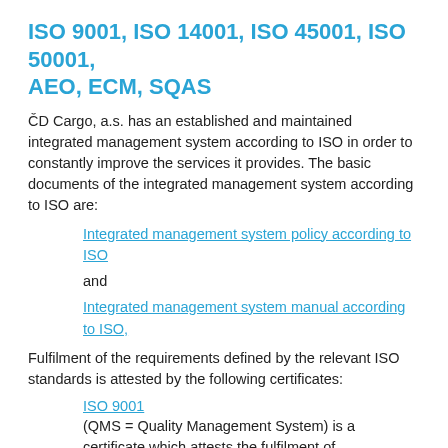ISO 9001, ISO 14001, ISO 45001, ISO 50001, AEO, ECM, SQAS
ČD Cargo, a.s. has an established and maintained integrated management system according to ISO in order to constantly improve the services it provides. The basic documents of the integrated management system according to ISO are:
Integrated management system policy according to ISO
and
Integrated management system manual according to ISO,
Fulfilment of the requirements defined by the relevant ISO standards is attested by the following certificates:
ISO 9001
(QMS = Quality Management System) is a certificate which attests the fulfilment of requirements for a management system and quality control focusing on the quality of services provided. According to this standard ČD Cargo, a.s. is certified since February 2007.
ISO 14001
(EMS = Environmental Management System) is a certificate